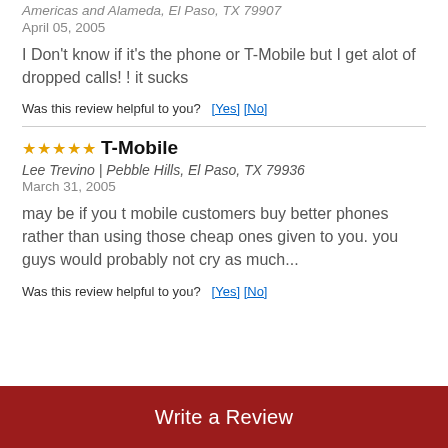Americas and Alameda, El Paso, TX 79907
April 05, 2005
I Don't know if it's the phone or T-Mobile but I get alot of dropped calls! ! it sucks
Was this review helpful to you?   [Yes] [No]
★★★★★ T-Mobile
Lee Trevino | Pebble Hills, El Paso, TX 79936
March 31, 2005
may be if you t mobile customers buy better phones rather than using those cheap ones given to you. you guys would probably not cry as much...
Was this review helpful to you?   [Yes] [No]
Write a Review